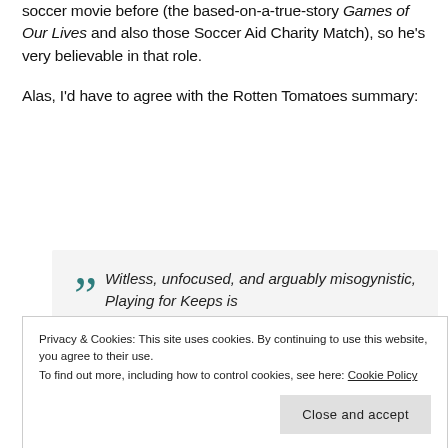soccer movie before (the based-on-a-true-story Games of Our Lives and also those Soccer Aid Charity Match), so he's very believable in that role.
Alas, I'd have to agree with the Rotten Tomatoes summary:
"Witless, unfocused, and arguably misogynistic, Playing for Keeps is
Privacy & Cookies: This site uses cookies. By continuing to use this website, you agree to their use.
To find out more, including how to control cookies, see here: Cookie Policy
Close and accept